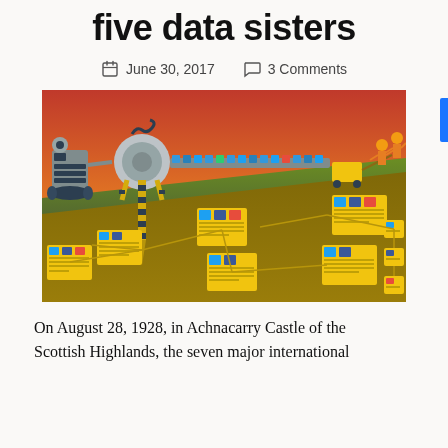five data sisters
June 30, 2017   3 Comments
[Figure (illustration): Illustrated infographic showing a robot and machine on a hill drilling underground, with workers pulling a cart, and a network of yellow data/social media nodes visible beneath the surface against a red-orange sky background.]
On August 28, 1928, in Achnacarry Castle of the Scottish Highlands, the seven major international oil